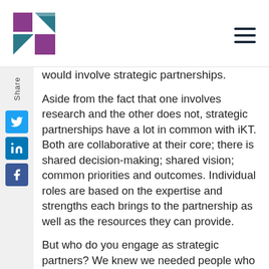[Logo] [Hamburger menu]
would involve strategic partnerships.
Aside from the fact that one involves research and the other does not, strategic partnerships have a lot in common with iKT. Both are collaborative at their core; there is shared decision-making; shared vision; common priorities and outcomes. Individual roles are based on the expertise and strengths each brings to the partnership as well as the resources they can provide.
But who do you engage as strategic partners? We knew we needed people who would use the tool and be invested in making sure it was user friendly and accessible. We also knew we needed representatives that covered the